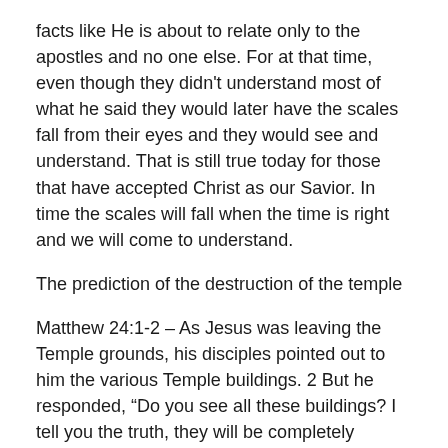facts like He is about to relate only to the apostles and no one else. For at that time, even though they didn't understand most of what he said they would later have the scales fall from their eyes and they would see and understand. That is still true today for those that have accepted Christ as our Savior. In time the scales will fall when the time is right and we will come to understand.
The prediction of the destruction of the temple
Matthew 24:1-2 – As Jesus was leaving the Temple grounds, his disciples pointed out to him the various Temple buildings. 2 But he responded, “Do you see all these buildings? I tell you the truth, they will be completely demolished. Not one stone will be left on top of another!”
It is this statement that causes the apostles to start to think